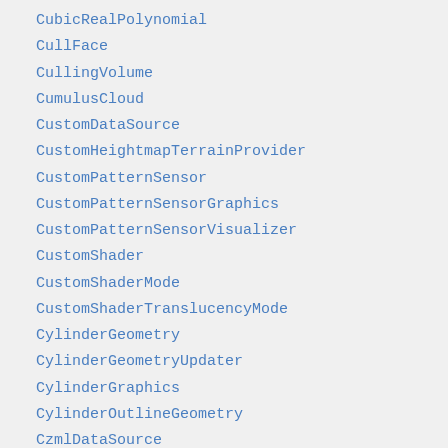CubicRealPolynomial
CullFace
CullingVolume
CumulusCloud
CustomDataSource
CustomHeightmapTerrainProvider
CustomPatternSensor
CustomPatternSensorGraphics
CustomPatternSensorVisualizer
CustomShader
CustomShaderMode
CustomShaderTranslucencyMode
CylinderGeometry
CylinderGeometryUpdater
CylinderGraphics
CylinderOutlineGeometry
CzmlDataSource
DataSource
DataSourceClock
DataSourceCollection